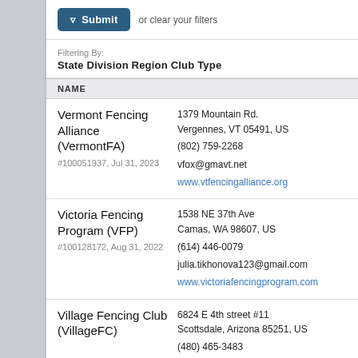Submit or clear your filters
Filtering By: State Division Region Club Type
| NAME |  |
| --- | --- |
| Vermont Fencing Alliance (VermontFA)
#100051937, Jul 31, 2023 | 1379 Mountain Rd.
Vergennes, VT 05491, US
(802) 759-2268
vfox@gmavt.net
www.vtfencingalliance.org |
| Victoria Fencing Program (VFP)
#100128172, Aug 31, 2022 | 1538 NE 37th Ave
Camas, WA 98607, US
(614) 446-0079
julia.tikhonova123@gmail.com
www.victoriafencingprogram.com |
| Village Fencing Club (VillageFC) | 6824 E 4th street #11
Scottsdale, Arizona 85251, US
(480) 465-3483 |